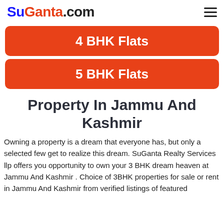SuGanta.com
4 BHK Flats
5 BHK Flats
Property In Jammu And Kashmir
Owning a property is a dream that everyone has, but only a selected few get to realize this dream. SuGanta Realty Services llp offers you opportunity to own your 3 BHK dream heaven at Jammu And Kashmir . Choice of 3BHK properties for sale or rent in Jammu And Kashmir from verified listings of featured